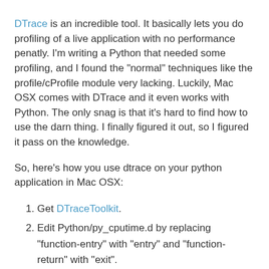DTrace is an incredible tool. It basically lets you do profiling of a live application with no performance penatly. I'm writing a Python that needed some profiling, and I found the "normal" techniques like the profile/cProfile module very lacking. Luckily, Mac OSX comes with DTrace and it even works with Python. The only snag is that it's hard to find how to use the darn thing. I finally figured it out, so I figured it pass on the knowledge.
So, here's how you use dtrace on your python application in Mac OSX:
Get DTraceToolkit.
Edit Python/py_cputime.d by replacing "function-entry" with "entry" and "function-return" with "exit".
Call "sudo dtrace -s Python/py_cputime.d"
Let it sit there a while and hit ctrl-c.
Enjoy the results
I can only assume you have to edit the file because of some difference between Solaris and OSX. You can try files other